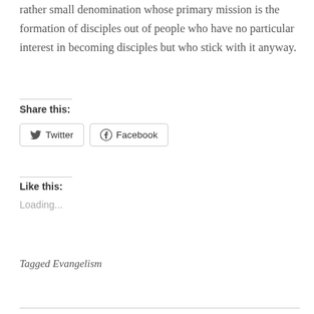rather small denomination whose primary mission is the formation of disciples out of people who have no particular interest in becoming disciples but who stick with it anyway.
Share this:
Twitter  Facebook
Like this:
Loading...
Tagged Evangelism